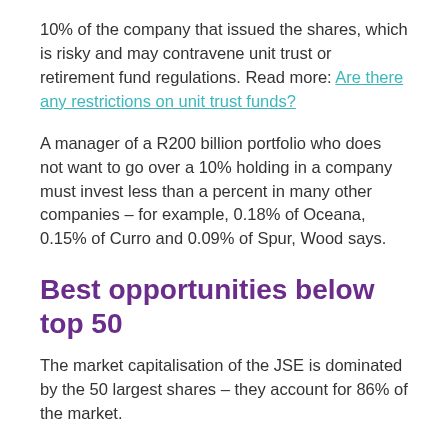10% of the company that issued the shares, which is risky and may contravene unit trust or retirement fund regulations. Read more: Are there any restrictions on unit trust funds?
A manager of a R200 billion portfolio who does not want to go over a 10% holding in a company must invest less than a percent in many other companies – for example, 0.18% of Oceana, 0.15% of Curro and 0.09% of Spur, Wood says.
Best opportunities below top 50
The market capitalisation of the JSE is dominated by the 50 largest shares – they account for 86% of the market.
The top 20 shares account for 61% of the market and the top five shares make up 26% of it, Wood says.